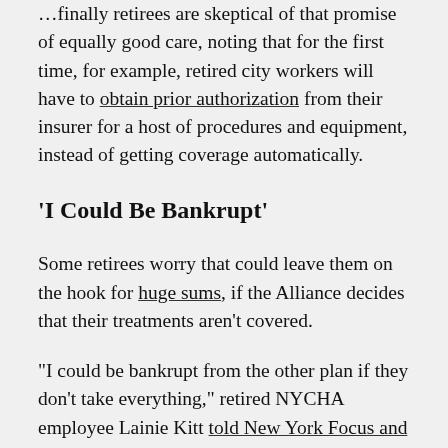…finally retirees are skeptical of that promise of equally good care, noting that for the first time, for example, retired city workers will have to obtain prior authorization from their insurer for a host of procedures and equipment, instead of getting coverage automatically.
'I Could Be Bankrupt'
Some retirees worry that could leave them on the hook for huge sums, if the Alliance decides that their treatments aren't covered.
“I could be bankrupt from the other plan if they don’t take everything,” retired NYCHA employee Lainie Kitt told New York Focus and THE CITY earlier this week.
Retirees who elect to keep the existing supplemental care program must pay $191 per adult covered…